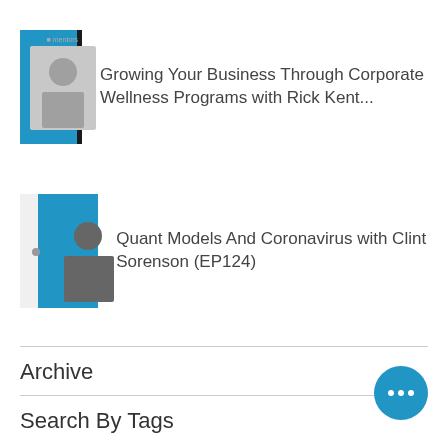[Figure (photo): Thumbnail image for podcast episode: Growing Your Business Through Corporate Wellness Programs with Rick Kent. Dark and blue split background with person.]
Growing Your Business Through Corporate Wellness Programs with Rick Kent...
[Figure (photo): Thumbnail image for podcast episode: Quant Models And Coronavirus with Clint Sorenson (EP124). Blue and grey split background with person in suit.]
Quant Models And Coronavirus with Clint Sorenson (EP124)
Archive
Search By Tags
3 Questions Series   advisor transition   blog   financial planning   fintech